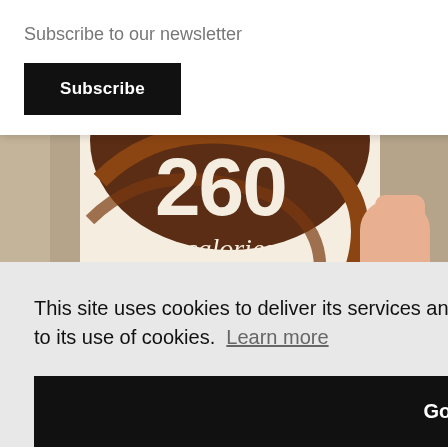[Figure (photo): A hand holding a pint of ice cream showing '260 calories per pint' on the label, with chocolate drizzle design on the container]
Subscribe to our newsletter
Subscribe
×
This site uses cookies to deliver its services and measure traffic. By using this site, you agree to its use of cookies.  Learn more
Got it!
Top
en I
ne is
GOOD. Like really good. If you like coffee ice